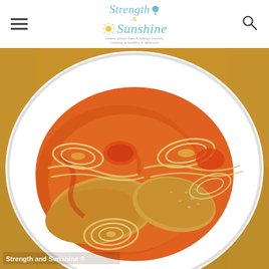Strength & Sunshine — where gluten-free & allergy friendly cooking is healthy & delicious
[Figure (photo): Overhead view of a white plate containing chicken braised in orange-red tomato sauce with caramelized onion rings, served on a brown paper surface. Watermark reads 'Strength and Sunshine ©']